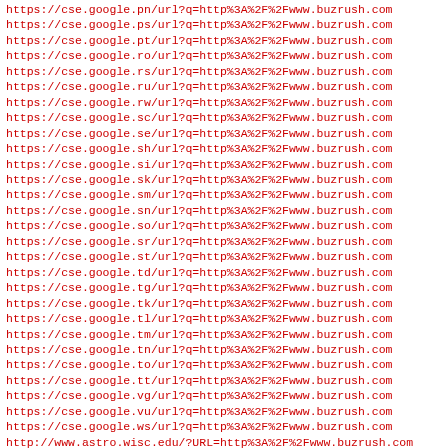https://cse.google.pn/url?q=http%3A%2F%2Fwww.buzrush.com
https://cse.google.ps/url?q=http%3A%2F%2Fwww.buzrush.com
https://cse.google.pt/url?q=http%3A%2F%2Fwww.buzrush.com
https://cse.google.ro/url?q=http%3A%2F%2Fwww.buzrush.com
https://cse.google.rs/url?q=http%3A%2F%2Fwww.buzrush.com
https://cse.google.ru/url?q=http%3A%2F%2Fwww.buzrush.com
https://cse.google.rw/url?q=http%3A%2F%2Fwww.buzrush.com
https://cse.google.sc/url?q=http%3A%2F%2Fwww.buzrush.com
https://cse.google.se/url?q=http%3A%2F%2Fwww.buzrush.com
https://cse.google.sh/url?q=http%3A%2F%2Fwww.buzrush.com
https://cse.google.si/url?q=http%3A%2F%2Fwww.buzrush.com
https://cse.google.sk/url?q=http%3A%2F%2Fwww.buzrush.com
https://cse.google.sm/url?q=http%3A%2F%2Fwww.buzrush.com
https://cse.google.sn/url?q=http%3A%2F%2Fwww.buzrush.com
https://cse.google.so/url?q=http%3A%2F%2Fwww.buzrush.com
https://cse.google.sr/url?q=http%3A%2F%2Fwww.buzrush.com
https://cse.google.st/url?q=http%3A%2F%2Fwww.buzrush.com
https://cse.google.td/url?q=http%3A%2F%2Fwww.buzrush.com
https://cse.google.tg/url?q=http%3A%2F%2Fwww.buzrush.com
https://cse.google.tk/url?q=http%3A%2F%2Fwww.buzrush.com
https://cse.google.tl/url?q=http%3A%2F%2Fwww.buzrush.com
https://cse.google.tm/url?q=http%3A%2F%2Fwww.buzrush.com
https://cse.google.tn/url?q=http%3A%2F%2Fwww.buzrush.com
https://cse.google.to/url?q=http%3A%2F%2Fwww.buzrush.com
https://cse.google.tt/url?q=http%3A%2F%2Fwww.buzrush.com
https://cse.google.vg/url?q=http%3A%2F%2Fwww.buzrush.com
https://cse.google.vu/url?q=http%3A%2F%2Fwww.buzrush.com
https://cse.google.ws/url?q=http%3A%2F%2Fwww.buzrush.com
http://www.astro.wisc.edu/?URL=http%3A%2F%2Fwww.buzrush.com
https://plus.google.com/url?q=http%3A%2F%2Fwww.buzrush.com